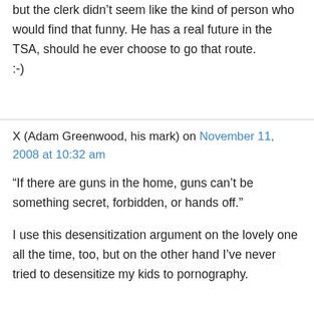I was very tempted to ask, 'Denis' problems,' but the clerk didn't seem like the kind of person who would find that funny. He has a real future in the TSA, should he ever choose to go that route. :-)
X (Adam Greenwood, his mark) on November 11, 2008 at 10:32 am
“If there are guns in the home, guns can’t be something secret, forbidden, or hands off.”
I use this desensitization argument on the lovely one all the time, too, but on the other hand I’ve never tried to desensitize my kids to pornography.